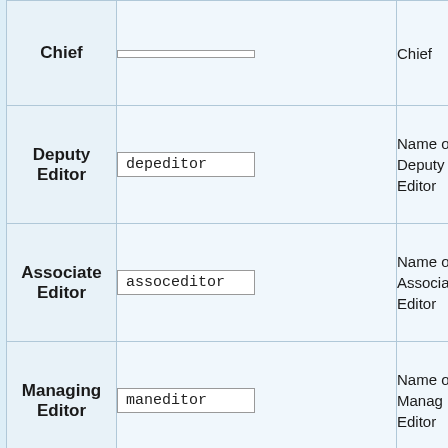| Role | Username | Description |
| --- | --- | --- |
| Chief |  | Chief |
| Deputy Editor | depeditor | Name of Deputy Editor |
| Associate Editor | assoceditor | Name of Associate Editor |
| Managing Editor | maneditor | Name of Managing Editor |
| News Editor | newseditor | Name of News Editor |